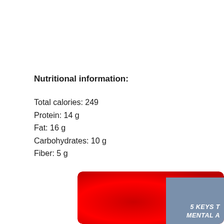Nutritional information:
Total calories: 249
Protein: 14 g
Fat: 16 g
Carbohydrates: 10 g
Fiber: 5 g
[Figure (illustration): Red rounded rectangle background with a partially visible book cover showing '5 KEYS T[O] MENTAL A[TTITUDE]' text on a blue-grey cover]